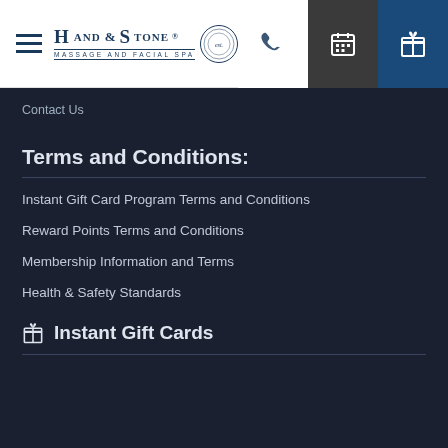[Figure (logo): Hand & Stone Massage and Facial Spa logo with hamburger menu icon]
Contact Us
Terms and Conditions:
Instant Gift Card Program Terms and Conditions
Reward Points Terms and Conditions
Membership Information and Terms
Health & Safety Standards
Instant Gift Cards